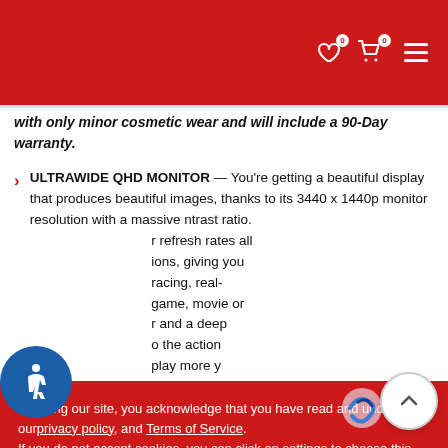Navigation header with wishlist (0), cart (0), and menu icons
with only minor cosmetic wear and will include a 90-Day warranty.
ULTRAWIDE QHD MONITOR — You're getting a beautiful display that produces beautiful images, thanks to its 3440 x 1440p monitor resolution with a massive contrast ratio. refresh rates all ions, giving you racing, real- game, movie or and a deep o the action play more two ungraded DisplayPort 1.4 and two HDMI 2.0 ports
By using our site, you acknowledge that you have read and understand our privacy policy, and Terms of Service.
If you do not accept cookies, you can click on settings to choose this option. If you want to use all the features on this website, click Accept.
Cookie settings   ACCEPT
two ungraded DisplayPort 1.4 and two HDMI 2.0 ports